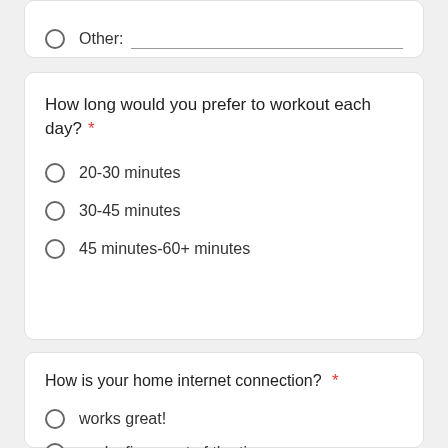Other: ___
How long would you prefer to workout each day? *
20-30 minutes
30-45 minutes
45 minutes-60+ minutes
How is your home internet connection? *
works great!
works fine most of the time